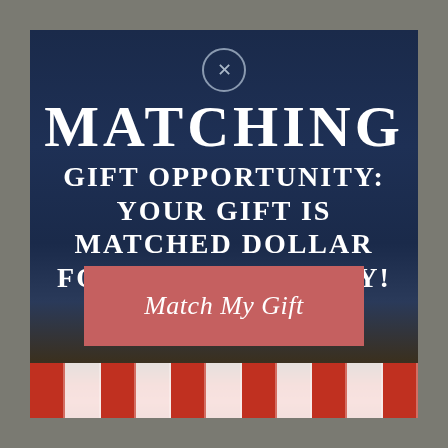[Figure (infographic): Dark navy blue overlay on a background showing a White House-like building with trees, serving as the backdrop for a matching gift fundraising popup modal with close button, headline text, and CTA button.]
MATCHING GIFT OPPORTUNITY: YOUR GIFT IS MATCHED DOLLAR FOR DOLLAR TODAY!
Match My Gift